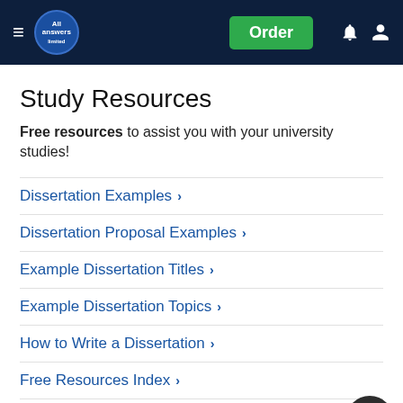All Answers Ltd — Order | navigation icons
Study Resources
Free resources to assist you with your university studies!
Dissertation Examples >
Dissertation Proposal Examples >
Example Dissertation Titles >
Example Dissertation Topics >
How to Write a Dissertation >
Free Resources Index >
🏠 / Examples
[Figure (infographic): Social sharing buttons: Facebook, Twitter, Reddit, LinkedIn, WhatsApp, Mendeley, ResearchGate]